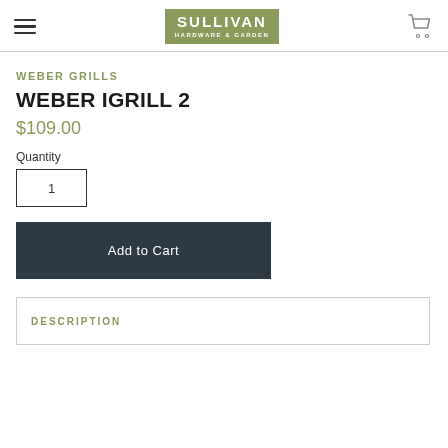SULLIVAN HARDWARE & GARDEN
WEBER GRILLS
WEBER IGRILL 2
$109.00
Quantity
1
Add to Cart
DESCRIPTION